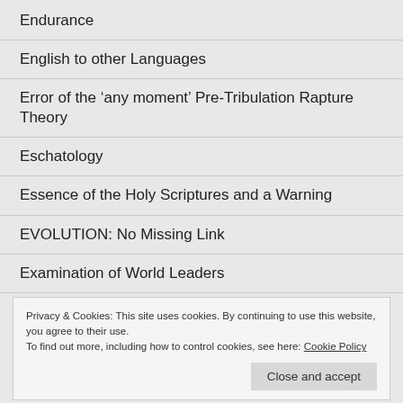Endurance
English to other Languages
Error of the ‘any moment’ Pre-Tribulation Rapture Theory
Eschatology
Essence of the Holy Scriptures and a Warning
EVOLUTION: No Missing Link
Examination of World Leaders
Privacy & Cookies: This site uses cookies. By continuing to use this website, you agree to their use.
To find out more, including how to control cookies, see here: Cookie Policy
Examination of World Leaders Part 4